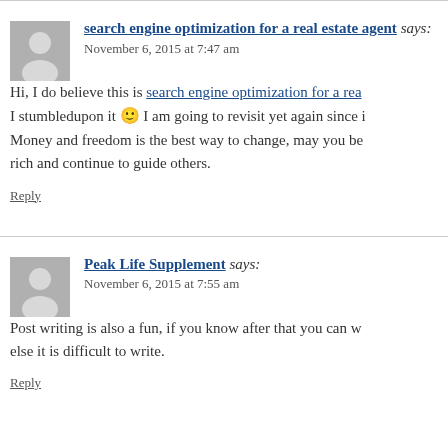search engine optimization for a real estate agent says:
November 6, 2015 at 7:47 am
Hi, I do believe this is search engine optimization for a rea... I stumbledupon it 🙂 I am going to revisit yet again since i... Money and freedom is the best way to change, may you be rich and continue to guide others.
Reply
Peak Life Supplement says:
November 6, 2015 at 7:55 am
Post writing is also a fun, if you know after that you can w... else it is difficult to write.
Reply